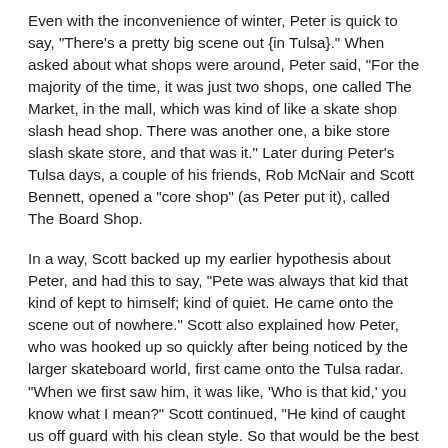Even with the inconvenience of winter, Peter is quick to say, “There’s a pretty big scene out {in Tulsa}.” When asked about what shops were around, Peter said, “For the majority of the time, it was just two shops, one called The Market, in the mall, which was kind of like a skate shop slash head shop. There was another one, a bike store slash skate store, and that was it.” Later during Peter’s Tulsa days, a couple of his friends, Rob McNair and Scott Bennett, opened a “core shop” (as Peter put it), called The Board Shop.
In a way, Scott backed up my earlier hypothesis about Peter, and had this to say, “Pete was always that kid that kind of kept to himself; kind of quiet. He came onto the scene out of nowhere.” Scott also explained how Peter, who was hooked up so quickly after being noticed by the larger skateboard world, first came onto the Tulsa radar. “When we first saw him, it was like, ‘Who is that kid,’ you know what I mean?” Scott continued, “He kind of caught us off guard with his clean style. So that would be the best thing to describe Peter, clean style, good attitude. And camouflage shorts, I think he was always in camouflage shorts.”
I’m always interested in how successful skateboarders from